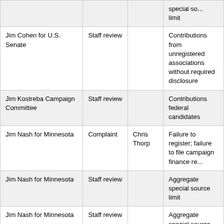|  |  |  |  |
| --- | --- | --- | --- |
|  |  |  | special so... limit |
| Jim Cohen for U.S. Senate | Staff review |  | Contributions from unregistered associations without required disclosure |
| Jim Kostreba Campaign Committee | Staff review |  | Contributions federal candidates |
| Jim Nash for Minnesota | Complaint | Chris Thorp | Failure to register; failure to file campaign finance re... |
| Jim Nash for Minnesota | Staff review |  | Aggregate special source limit |
| Jim Nash for Minnesota | Staff review |  | Aggregate special source limit |